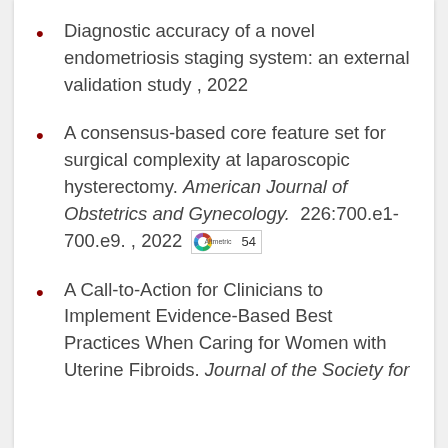Diagnostic accuracy of a novel endometriosis staging system: an external validation study , 2022
A consensus-based core feature set for surgical complexity at laparoscopic hysterectomy. American Journal of Obstetrics and Gynecology. 226:700.e1-700.e9. , 2022 [Altmetric 54]
A Call-to-Action for Clinicians to Implement Evidence-Based Best Practices When Caring for Women with Uterine Fibroids. Journal of the Society for...